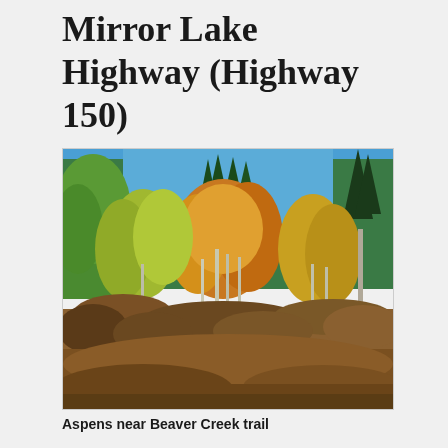Mirror Lake Highway (Highway 150)
[Figure (photo): Autumn aspens and evergreen trees near Beaver Creek trail. Foreground shows brown undergrowth and shrubs. Yellow and orange aspen foliage fills the mid-ground, with dark green pines in the background under a clear blue sky.]
Aspens near Beaver Creek trail